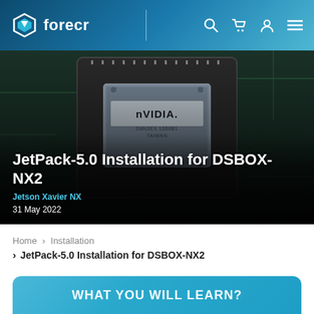forecr
[Figure (photo): Close-up photo of an NVIDIA GPU chip (D8N3EX 1008B1 TAIWAN) on a circuit board, dark green/teal PCB background. Article hero image for JetPack-5.0 Installation for DSBOX-NX2.]
JetPack-5.0 Installation for DSBOX-NX2
Jetson Xavier NX
31 May 2022
Home > Installation
> JetPack-5.0 Installation for DSBOX-NX2
WHAT YOU WILL LEARN?